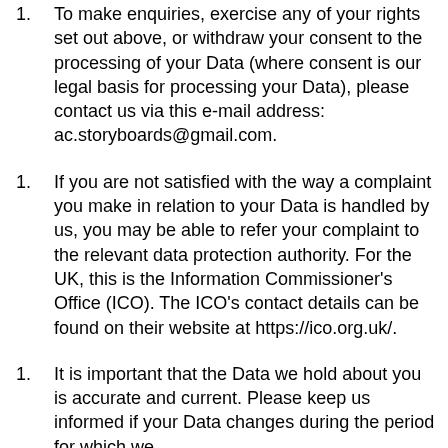To make enquiries, exercise any of your rights set out above, or withdraw your consent to the processing of your Data (where consent is our legal basis for processing your Data), please contact us via this e-mail address: ac.storyboards@gmail.com.
If you are not satisfied with the way a complaint you make in relation to your Data is handled by us, you may be able to refer your complaint to the relevant data protection authority. For the UK, this is the Information Commissioner's Office (ICO). The ICO's contact details can be found on their website at https://ico.org.uk/.
It is important that the Data we hold about you is accurate and current. Please keep us informed if your Data changes during the period for which we